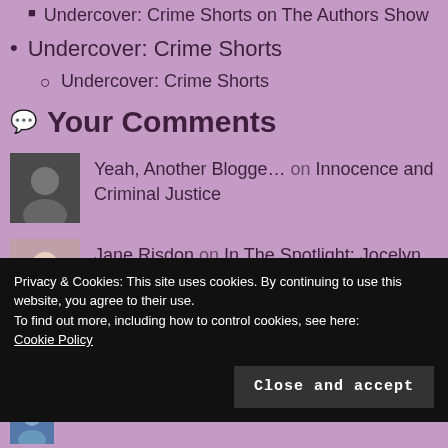Undercover: Crime Shorts on The Authors Show
Undercover: Crime Shorts
Undercover: Crime Shorts
Your Comments
Yeah, Another Blogge… on Innocence and Criminal Justice
Jane Risdon on In The Spotlight: Jocelyn Dave…
Privacy & Cookies: This site uses cookies. By continuing to use this website, you agree to their use.
To find out more, including how to control cookies, see here:
Cookie Policy
Close and accept
Margot Kinborg on In The Spotlight: